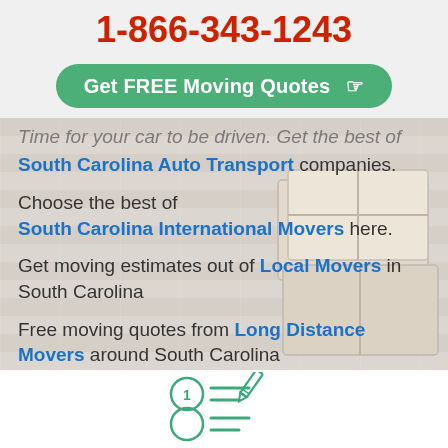1-866-343-1243
Get FREE Moving Quotes
Time for your car to be driven. Get the best of South Carolina Auto Transport companies.
Choose the best of South Carolina International Movers here.
Get moving estimates out of Local Movers in South Carolina
Free moving quotes from Long Distance Movers around South Carolina
[Figure (illustration): Icon showing a clipboard with numbered list and a pencil, drawn in teal/green outline style]